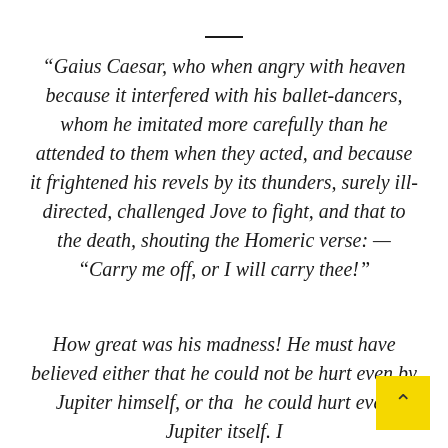“Gaius Caesar, who when angry with heaven because it interfered with his ballet-dancers, whom he imitated more carefully than he attended to them when they acted, and because it frightened his revels by its thunders, surely ill-directed, challenged Jove to fight, and that to the death, shouting the Homeric verse: — “Carry me off, or I will carry thee!”
How great was his madness! He must have believed either that he could not be hurt even by Jupiter himself, or that he could hurt even Jupiter itself. I